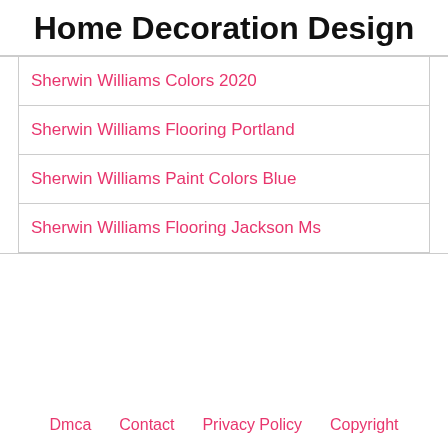Home Decoration Design
Sherwin Williams Colors 2020
Sherwin Williams Flooring Portland
Sherwin Williams Paint Colors Blue
Sherwin Williams Flooring Jackson Ms
Dmca   Contact   Privacy Policy   Copyright